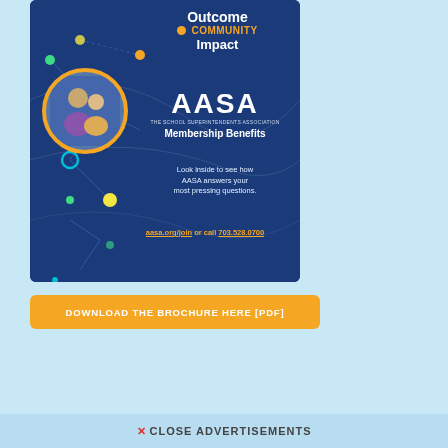[Figure (illustration): AASA Membership Benefits brochure cover on dark blue background with network/dot graphic design, circular photo of people, showing text: Outcome, COMMUNITY Impact, AASA The School Superintendents Association Membership Benefits, Look inside to see how AASA answers your most pressing questions. aasa.org/join or call 703.528.0700]
DOWNLOAD THE BROCHURE HERE [PDF]
X CLOSE ADVERTISEMENTS